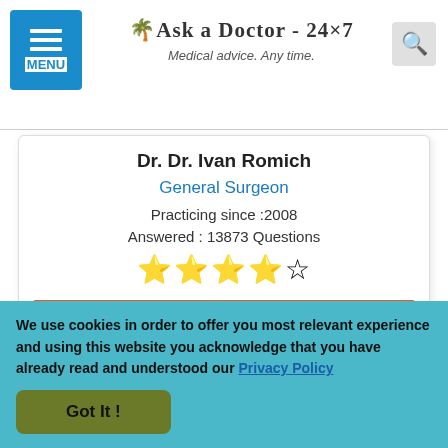Ask a Doctor - 24x7 | Medical advice. Any time.
Dr. Dr. Ivan Romich
General Surgeon
Practicing since :2008
Answered : 13873 Questions
[Figure (other): 4 out of 5 star rating shown as yellow stars]
Ask me a question »
[Figure (other): Green circle stamp with text ACCEPTED]
The User accepted the expert's answer
Ask a General Surgeon »
We use cookies in order to offer you most relevant experience and using this website you acknowledge that you have already read and understood our Privacy Policy
Got It !